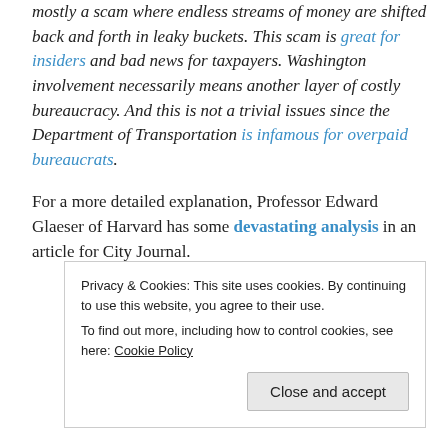mostly a scam where endless streams of money are shifted back and forth in leaky buckets. This scam is great for insiders and bad news for taxpayers. Washington involvement necessarily means another layer of costly bureaucracy. And this is not a trivial issues since the Department of Transportation is infamous for overpaid bureaucrats.
For a more detailed explanation, Professor Edward Glaeser of Harvard has some devastating analysis in an article for City Journal.
Privacy & Cookies: This site uses cookies. By continuing to use this website, you agree to their use. To find out more, including how to control cookies, see here: Cookie Policy